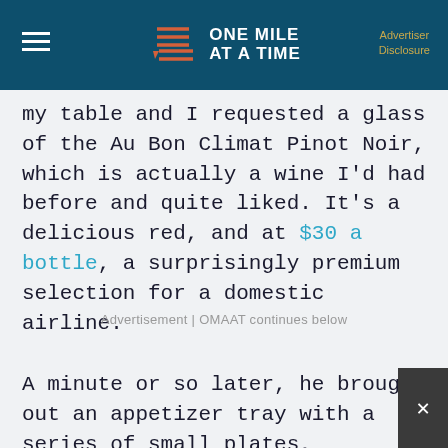ONE MILE AT A TIME | Advertiser Disclosure
my table and I requested a glass of the Au Bon Climat Pinot Noir, which is actually a wine I'd had before and quite liked. It's a delicious red, and at $30 a bottle, a surprisingly premium selection for a domestic airline.
Advertisement | OMAAT continues below
A minute or so later, he brought out an appetizer tray with a series of small plates, including a white parmesan spread with olive oil toast, a prosciutto and cheese roll-up, and a delicious walnut salad. It was beautifully presented.